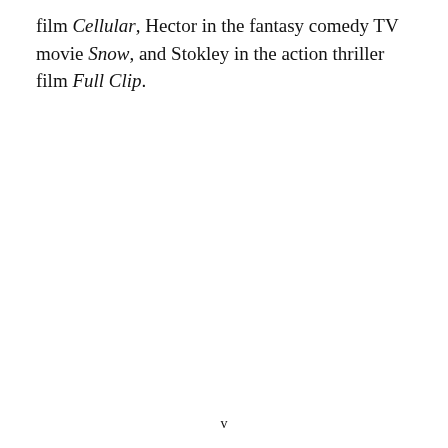film Cellular, Hector in the fantasy comedy TV movie Snow, and Stokley in the action thriller film Full Clip.
v